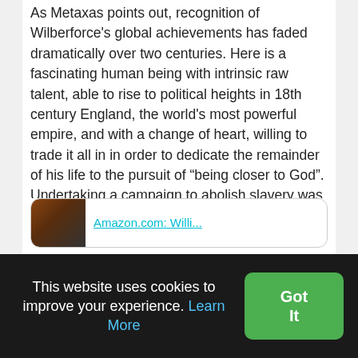As Metaxas points out, recognition of Wilberforce's global achievements has faded dramatically over two centuries. Here is a fascinating human being with intrinsic raw talent, able to rise to political heights in 18th century England, the world's most powerful empire, and with a change of heart, willing to trade it all in in order to dedicate the remainder of his life to the pursuit of "being closer to God". Undertaking a campaign to abolish slavery was so unrealistic at the time, that he broke the task down by initially pursuing abolition of the slave trade. His dreams of emancipation came to fruition 3 days before he expired.
[Figure (other): Partially visible card/widget with a person's photo thumbnail and a teal hyperlink text, partially cut off at the bottom of the content area]
This website uses cookies to improve your experience. Learn More